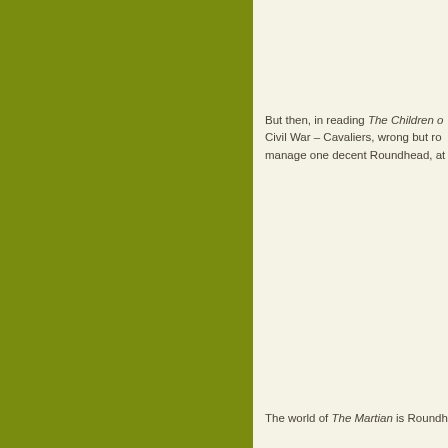[Figure (illustration): Solid olive/yellow-green colored panel occupying the left portion of the page]
But then, in reading The Children o Civil War – Cavaliers, wrong but ro manage one decent Roundhead, at
The world of The Martian is Roundh